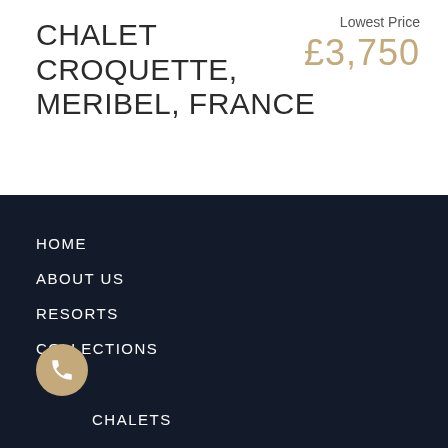CHALET CROQUETTE, MERIBEL, FRANCE
Lowest Price £3,750
HOME
ABOUT US
RESORTS
COLLECTIONS
CHALETS